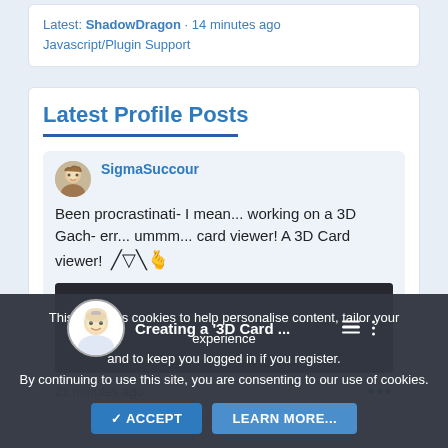Latest: ShadowDragon · 14 minutes ago
Javascript/Plugin Support
Latest Profile Posts
SigmaSuccour
Been procrastinati- I mean... working on a 3D Gach- err... ummm... card viewer! A 3D Card viewer! 🥹🫰
[Figure (screenshot): Video thumbnail showing anime-style avatar and text 'Creating a '3D Card ...' with playlist and options icons]
21 minutes ago
This site uses cookies to help personalise content, tailor your experience and to keep you logged in if you register.
By continuing to use this site, you are consenting to our use of cookies.
ACCEPT    LEARN MORE...